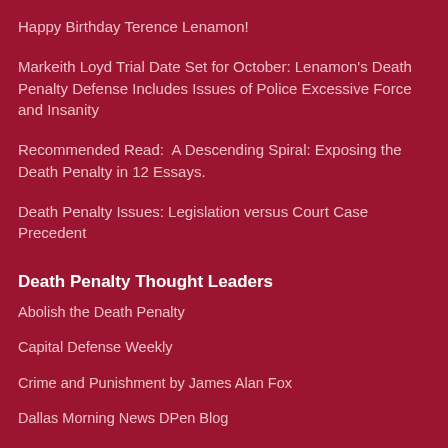Happy Birthday Terence Lenamon!
Markeith Loyd Trial Date Set for October: Lenamon's Death Penalty Defense Includes Issues of Police Excessive Force and Insanity
Recommended Read:  A Descending Spiral: Exposing the Death Penalty in 12 Essays.
Death Penalty Issues: Legislation versus Court Case Precedent
Death Penalty Thought Leaders
Abolish the Death Penalty
Capital Defense Weekly
Crime and Punishment by James Alan Fox
Dallas Morning News DPen Blog